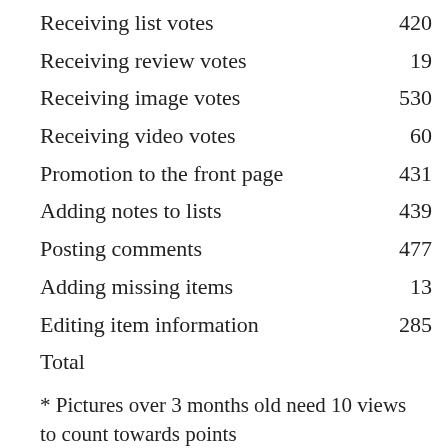| Action | Points |
| --- | --- |
| Receiving list votes | 420 |
| Receiving review votes | 19 |
| Receiving image votes | 530 |
| Receiving video votes | 60 |
| Promotion to the front page | 431 |
| Adding notes to lists | 439 |
| Posting comments | 477 |
| Adding missing items | 13 |
| Editing item information | 285 |
| Total |  |
* Pictures over 3 months old need 10 views to count towards points
Explore Content
Lists
Reviews
Pictures
Other
Contact
Privacy policy
Terms of Service